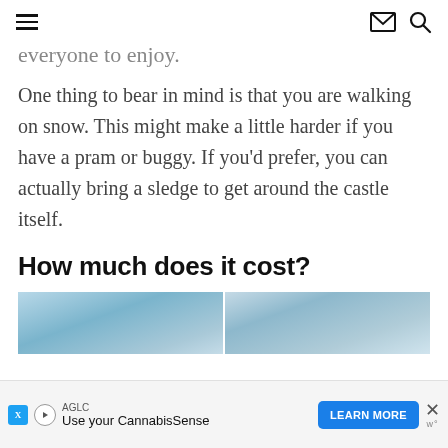[hamburger menu] [mail icon] [search icon]
everyone to enjoy.
One thing to bear in mind is that you are walking on snow. This might make a little harder if you have a pram or buggy. If you'd prefer, you can actually bring a sledge to get around the castle itself.
How much does it cost?
[Figure (photo): Two side-by-side photos with blue/grey tones, partially visible at the bottom of the page]
[Figure (infographic): Advertisement banner: AGLC 'Use your CannabisSense' with LEARN MORE button]